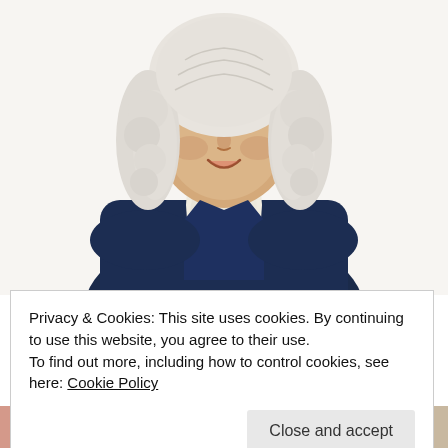[Figure (illustration): Illustrated portrait of a smiling man in 18th-century style clothing with white powdered wig and ruffled white cravat, wearing a dark navy jacket. Character resembles a colonial-era figure.]
Almost Nobody Has Passed This Classic Logo Quiz
WarpedSpeed
sponsored by Hearing Aid Advice
World Leading Provider in Hearing Aids. Check
Privacy & Cookies: This site uses cookies. By continuing to use this website, you agree to their use.
To find out more, including how to control cookies, see here: Cookie Policy
Close and accept